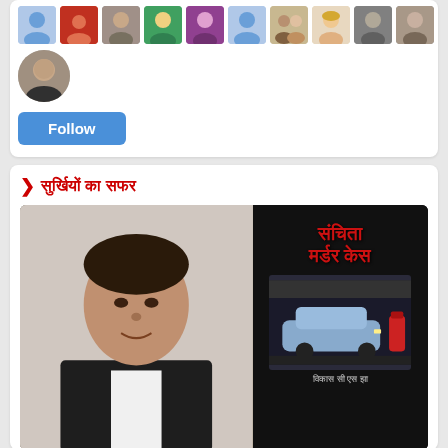[Figure (photo): Row of social media avatar thumbnails for various users, mixed profile photos]
[Figure (photo): Single profile photo of a man in a suit (avatar)]
[Figure (illustration): Blue Follow button]
सुर्खियों का सफर
[Figure (photo): Left half: portrait of an Indian man in a dark blazer and white shirt. Right half: dark promotional movie/news poster with Hindi text 'संचिता मर्डर केस' in red, and Hindi text 'विकास सी एस झा' at bottom, with a car in a parking garage scene.]